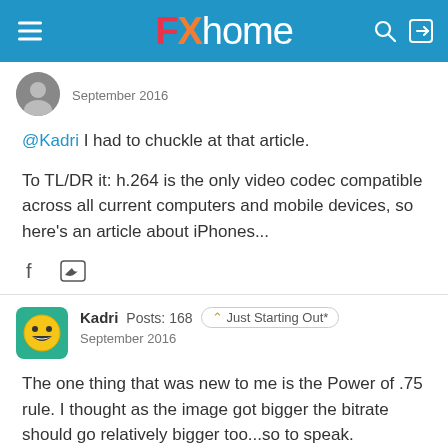FXhome
September 2016
@Kadri I had to chuckle at that article.
To TL/DR it: h.264 is the only video codec compatible across all current computers and mobile devices, so here’s an article about iPhones...
Kadri  Posts: 168  ∧ Just Starting Out*
September 2016
The one thing that was new to me is the Power of .75 rule. I thought as the image got bigger the bitrate should go relatively bigger too...so to speak.